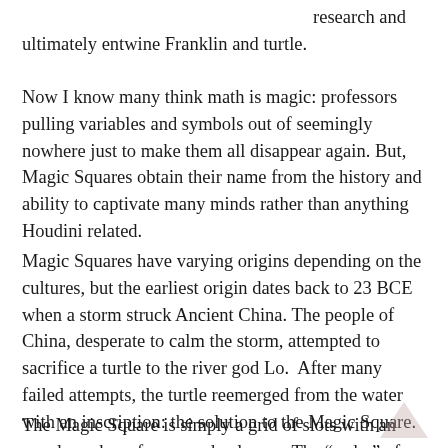research and ultimately entwine Franklin and turtle.
Now I know many think math is magic: professors pulling variables and symbols out of seemingly nowhere just to make them all disappear again. But, Magic Squares obtain their name from the history and ability to captivate many minds rather than anything Houdini related.
Magic Squares have varying origins depending on the cultures, but the earliest origin dates back to 23 BCE when a storm struck Ancient China. The people of China, desperate to calm the storm, attempted to sacrifice a turtle to the river god Lo.  After many failed attempts, the turtle reemerged from the water with an inscription: the solution to the Magic Square.
The Magic Square is simply a grid of slots with an equal number of rows and columns. The “order” of the square